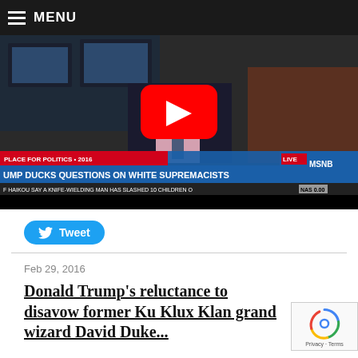MENU
[Figure (screenshot): YouTube video thumbnail showing MSNBC news broadcast. Lower thirds read: 'PLACE FOR POLITICS · 2016', 'UMP DUCKS QUESTIONS ON WHITE SUPREMACISTS', 'F HAIKOU SAY A KNIFE-WIELDING MAN HAS SLASHED 10 CHILDREN O...', 'NAS 0.00'. LIVE badge visible. MSNBC logo visible. Large red YouTube play button in center.]
Tweet
Feb 29, 2016
Donald Trump's reluctance to disavow former Ku Klux Klan grand wizard David Duke...